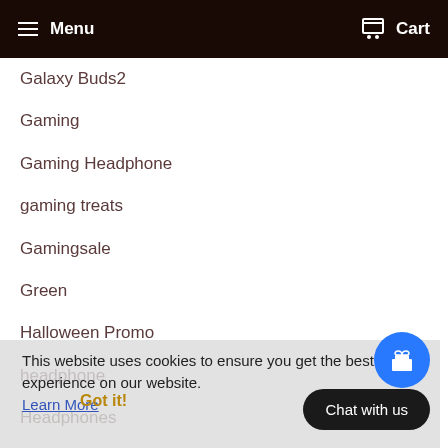Menu  Cart
Galaxy Buds2
Gaming
Gaming Headphone
gaming treats
Gamingsale
Green
Halloween Promo
headphone
Headphones
Headset
Holy Week 2021
HP
HUBS
installment
INTEREST FREE
iPad
This website uses cookies to ensure you get the best experience on our website. Learn More
Got it!
Chat with us